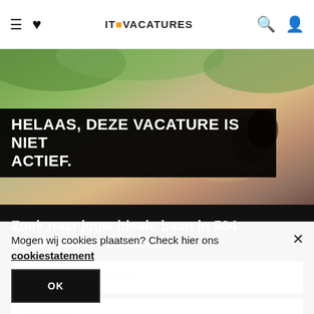IT Vacatures navigation header with hamburger menu, heart icon, logo, search icon, account icon
[Figure (photo): Hero background photo of person lying on grass with greenery]
HELAAS, DEZE VACATURE IS NIET ACTIEF.
Zoek naar jouw ideale baan in 504 beschikbare vacatures
Plaatsnaam of postcode
Trefwoord
Mogen wij cookies plaatsen? Check hier ons cookiestatement
OK